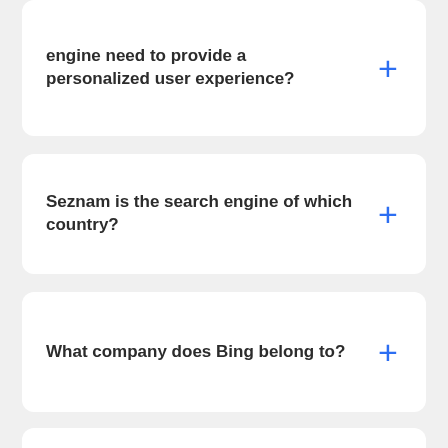engine need to provide a personalized user experience?
Seznam is the search engine of which country?
What company does Bing belong to?